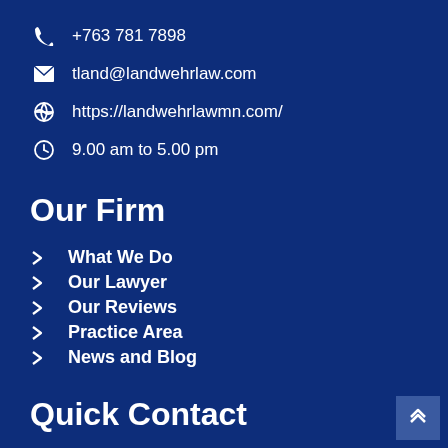+763 781 7898
tland@landwehrlaw.com
https://landwehrlawmn.com/
9.00 am to 5.00 pm
Our Firm
What We Do
Our Lawyer
Our Reviews
Practice Area
News and Blog
Quick Contact